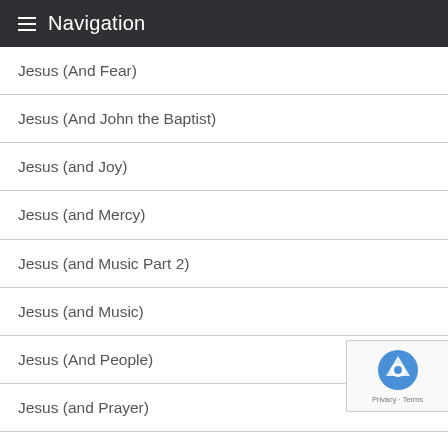Navigation
Jesus (And Fear)
Jesus (And John the Baptist)
Jesus (and Joy)
Jesus (and Mercy)
Jesus (and Music Part 2)
Jesus (and Music)
Jesus (And People)
Jesus (and Prayer)
Jesus (and Prayer) Part 2